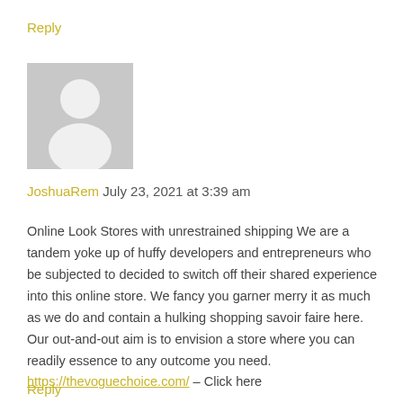Reply
[Figure (illustration): Generic grey avatar placeholder image with white silhouette of a person]
JoshuaRem July 23, 2021 at 3:39 am
Online Look Stores with unrestrained shipping We are a tandem yoke up of huffy developers and entrepreneurs who be subjected to decided to switch off their shared experience into this online store. We fancy you garner merry it as much as we do and contain a hulking shopping savoir faire here. Our out-and-out aim is to envision a store where you can readily essence to any outcome you need.
https://thevoguechoice.com/ – Click here
Reply